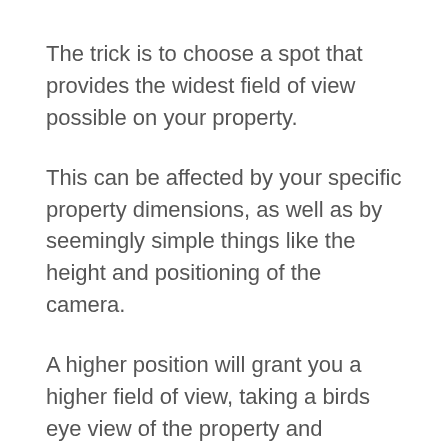The trick is to choose a spot that provides the widest field of view possible on your property.
This can be affected by your specific property dimensions, as well as by seemingly simple things like the height and positioning of the camera.
A higher position will grant you a higher field of view, taking a birds eye view of the property and allowing more things to be captured in the camera’s eyeline.
One problem is however, that this will grant less